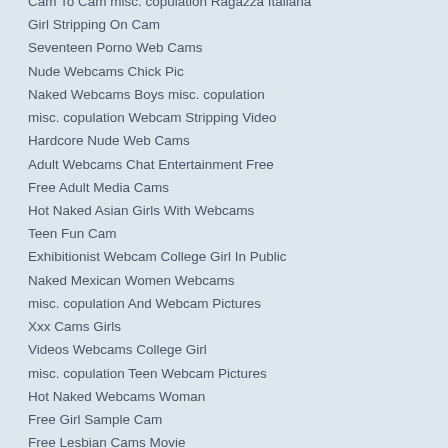Cam To Cam misc. copulation Ragazza Italiana
Girl Stripping On Cam
Seventeen Porno Web Cams
Nude Webcams Chick Pic
Naked Webcams Boys misc. copulation
misc. copulation Webcam Stripping Video
Hardcore Nude Web Cams
Adult Webcams Chat Entertainment Free
Free Adult Media Cams
Hot Naked Asian Girls With Webcams
Teen Fun Cam
Exhibitionist Webcam College Girl In Public
Naked Mexican Women Webcams
misc. copulation And Webcam Pictures
Xxx Cams Girls
Videos Webcams College Girl
misc. copulation Teen Webcam Pictures
Hot Naked Webcams Woman
Free Girl Sample Cam
Free Lesbian Cams Movie
Hot Porn Stars On Webcam
misc. copulation Chat Web Web Cam
Amateur Gay Web Cam
Webcam misc. copulation Videos
Hot Girl Stripping For Webcam